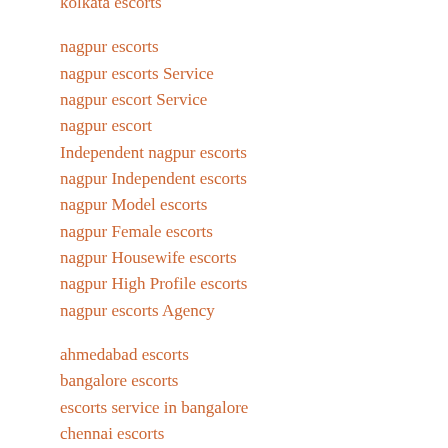kolkata escorts
nagpur escorts
nagpur escorts Service
nagpur escort Service
nagpur escort
Independent nagpur escorts
nagpur Independent escorts
nagpur Model escorts
nagpur Female escorts
nagpur Housewife escorts
nagpur High Profile escorts
nagpur escorts Agency
ahmedabad escorts
bangalore escorts
escorts service in bangalore
chennai escorts
escorts service in chennai
delhi escorts
goa escorts
guwahati escorts